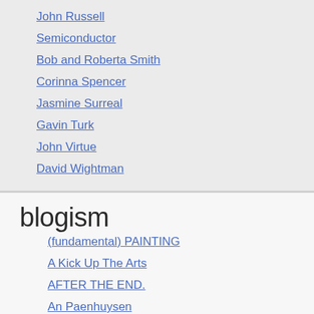John Russell
Semiconductor
Bob and Roberta Smith
Corinna Spencer
Jasmine Surreal
Gavin Turk
John Virtue
David Wightman
blogism
(fundamental) PAINTING
A Kick Up The Arts
AFTER THE END.
An Paenhuysen